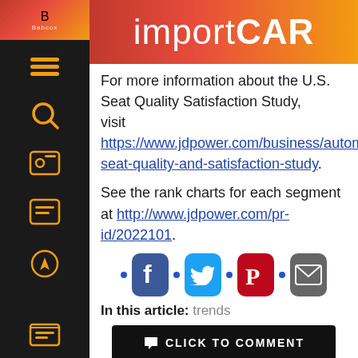importCAR
For more information about the U.S. Seat Quality Satisfaction Study, visit https://www.jdpower.com/business/automotive/seat-quality-and-satisfaction-study.
See the rank charts for each segment at http://www.jdpower.com/pr-id/2022101.
[Figure (infographic): Social sharing icons row: Facebook, Twitter, Pinterest, Email with blue dots between them]
In this article: trends
CLICK TO COMMENT
NEWS: Auto Care's Fall Leadership Days...